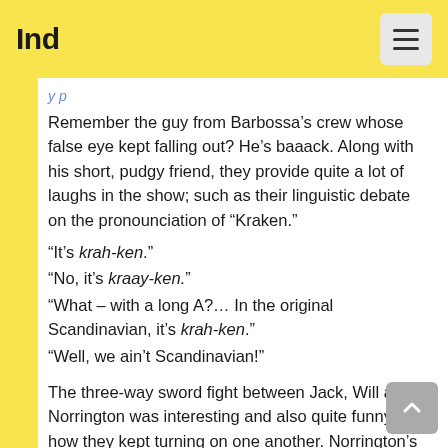Ind
Remember the guy from Barbossa’s crew whose false eye kept falling out? He’s baaack. Along with his short, pudgy friend, they provide quite a lot of laughs in the show; such as their linguistic debate on the pronounciation of “Kraken.”
“It’s krah-ken.”
“No, it’s kraay-ken.”
“What – with a long A?… In the original Scandinavian, it’s krah-ken.”
“Well, we ain’t Scandinavian!”
The three-way sword fight between Jack, Will and Norrington was interesting and also quite funny in how they kept turning on one another. Norrington’s joining in did surprise me, though. Still, it brought another dimension to the whole fight. And Elizabeth’s futile efforts to try and get them to stop was an amusing